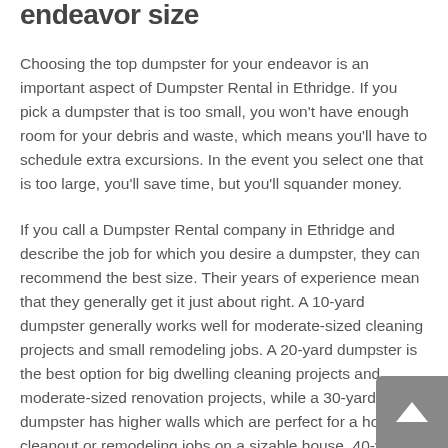endeavor size
Choosing the top dumpster for your endeavor is an important aspect of Dumpster Rental in Ethridge. If you pick a dumpster that is too small, you won't have enough room for your debris and waste, which means you'll have to schedule extra excursions. In the event you select one that is too large, you'll save time, but you'll squander money.
If you call a Dumpster Rental company in Ethridge and describe the job for which you desire a dumpster, they can recommend the best size. Their years of experience mean that they generally get it just about right. A 10-yard dumpster generally works well for moderate-sized cleaning projects and small remodeling jobs. A 20-yard dumpster is the best option for big dwelling cleaning projects and moderate-sized renovation projects, while a 30-yard dumpster has higher walls which are perfect for a home cleanout or remodeling jobs on a sizable house. 40-yard dumpsters are massively big and are used only on the biggest projects such as new construction.